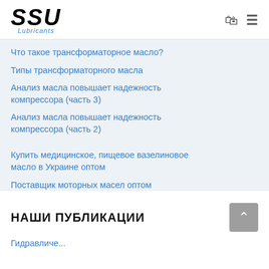SSU Lubricants
Что такое трансформаторное масло?
Типы трансформаторного масла
Анализ масла повышает надежность компрессора (часть 3)
Анализ масла повышает надежность компрессора (часть 2)
Купить медицинское, пищевое вазелиновое масло в Украине оптом
Поставщик моторных масел оптом
НАШИ ПУБЛИКАЦИИ
Гидравличе...